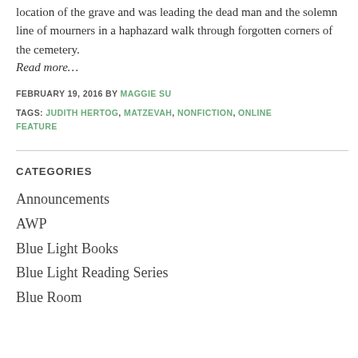location of the grave and was leading the dead man and the solemn line of mourners in a haphazard walk through forgotten corners of the cemetery.
Read more…
FEBRUARY 19, 2016 BY MAGGIE SU
TAGS: JUDITH HERTOG, MATZEVAH, NONFICTION, ONLINE FEATURE
CATEGORIES
Announcements
AWP
Blue Light Books
Blue Light Reading Series
Blue Room